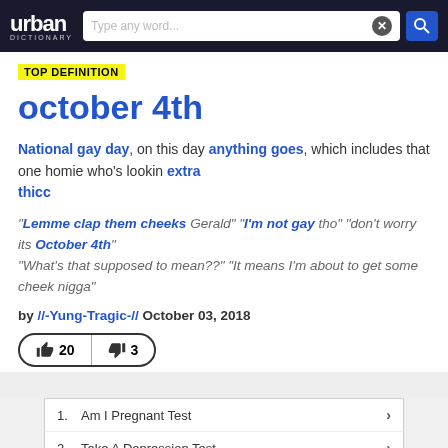[Figure (screenshot): Urban Dictionary website header with logo, search box, and navigation]
TOP DEFINITION
october 4th
National gay day, on this day anything goes, which includes that one homie who's lookin extra thicc
"Lemme clap them cheeks Gerald" "I'm not gay tho" "don't worry its October 4th" "What's that supposed to mean??" "It means I'm about to get some cheek nigga"
by //-Yung-Tragic-// October 03, 2018
[Figure (other): Vote buttons showing thumbs up 20 and thumbs down 3]
[Figure (other): Advertisement/search results list with: 1. Am I Pregnant Test, 2. Take A Depression Test, 3. 5 Sign Of Depressi...]